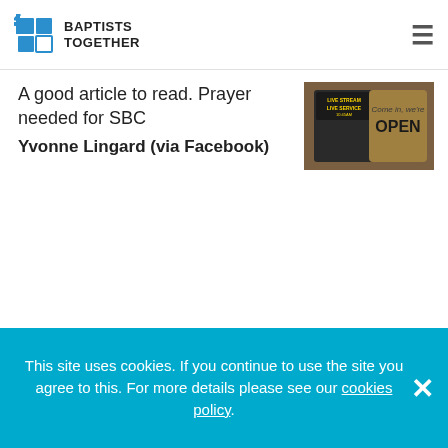Baptists Together
A good article to read. Prayer needed for SBC
Yvonne Lingard (via Facebook)
[Figure (photo): Photo showing a church 'OPEN' sign with Live Stream Live Service text]
Re: 'An attractive place of freshness and light'
[Figure (photo): Photo of a church interior with wooden pews and windows]
This site uses cookies. If you continue to use the site you agree to this. For more details please see our cookies policy.